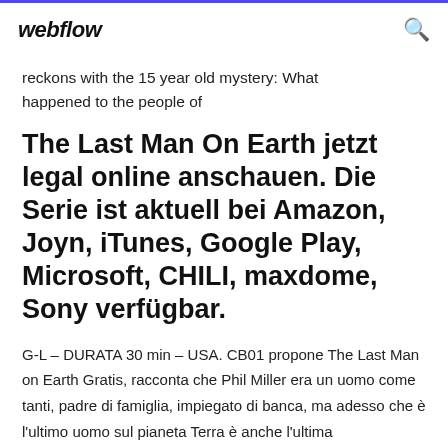webflow
reckons with the 15 year old mystery: What happened to the people of
The Last Man On Earth jetzt legal online anschauen. Die Serie ist aktuell bei Amazon, Joyn, iTunes, Google Play, Microsoft, CHILI, maxdome, Sony verfügbar.
G-L – DURATA 30 min – USA. CB01 propone The Last Man on Earth Gratis, racconta che Phil Miller era un uomo come tanti, padre di famiglia, impiegato di banca, ma adesso che è l'ultimo uomo sul pianeta Terra è anche l'ultima